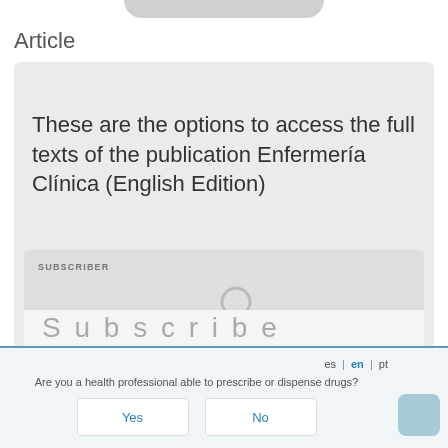Article
These are the options to access the full texts of the publication Enfermería Clínica (English Edition)
SUBSCRIBER
[Figure (illustration): Stylized person/subscriber icon in gray]
Subscribe (partial, cut off)
es | en | pt
Are you a health professional able to prescribe or dispense drugs?
Yes
No